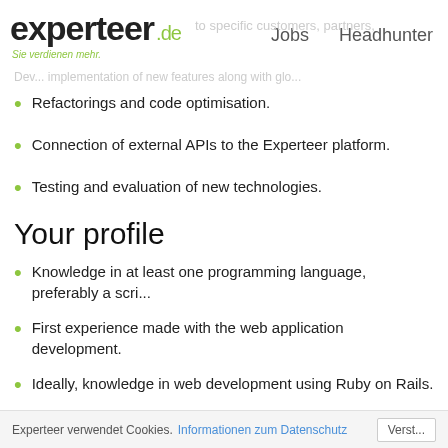experteer.de | Jobs | Headhunter | Sie verdienen mehr.
Dev... implementation of new features along with glo...
Refactorings and code optimisation.
Connection of external APIs to the Experteer platform.
Testing and evaluation of new technologies.
Your profile
Knowledge in at least one programming language, preferably a scri...
First experience made with the web application development.
Ideally, knowledge in web development using Ruby on Rails.
Basic knowledge in SQL and relational databases (ideally PostgreS...
Experience with Linux as a development environment.
Experteer verwendet Cookies. Informationen zum Datenschutz | Verst...